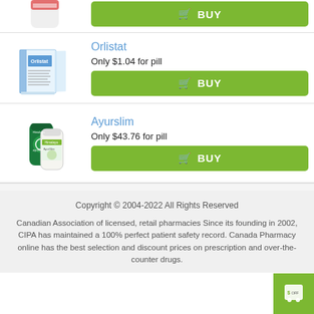[Figure (photo): Partial view of a pill bottle, cut off at top of page]
BUY
[Figure (photo): Orlistat medicine box packaging, blue and white]
Orlistat
Only $1.04 for pill
BUY
[Figure (photo): Himalaya Ayurslim supplement bottles, green and white packaging]
Ayurslim
Only $43.76 for pill
BUY
Copyright © 2004-2022 All Rights Reserved
Canadian Association of licensed, retail pharmacies Since its founding in 2002, CIPA has maintained a 100% perfect patient safety record. Canada Pharmacy online has the best selection and discount prices on prescription and over-the-counter drugs.